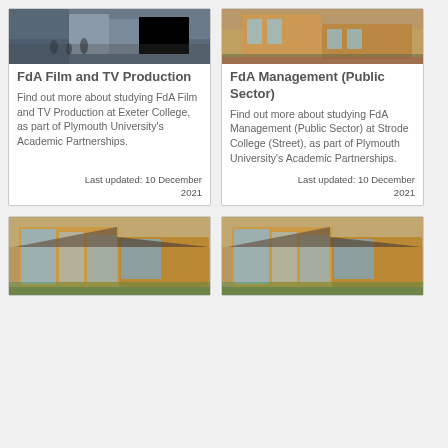[Figure (photo): Street scene with people walking, buildings in background — Exeter College]
FdA Film and TV Production
Find out more about studying FdA Film and TV Production at Exeter College, as part of Plymouth University's Academic Partnerships.
Last updated: 10 December 2021
[Figure (photo): Exterior of a building with brick and glass — Strode College Street]
FdA Management (Public Sector)
Find out more about studying FdA Management (Public Sector) at Strode College (Street), as part of Plymouth University's Academic Partnerships.
Last updated: 10 December 2021
[Figure (photo): Modern college building with glass facade and brick exterior]
[Figure (photo): Modern college building with glass facade and brick exterior — similar view]